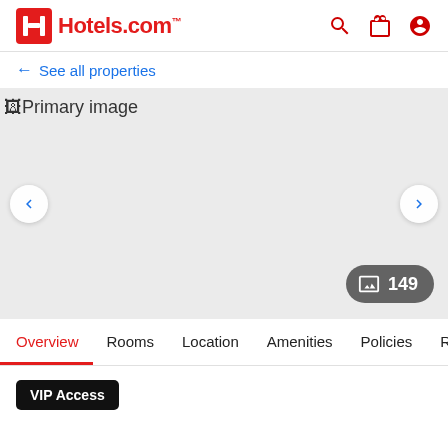Hotels.com
← See all properties
[Figure (screenshot): Primary image placeholder for hotel photo gallery with left/right navigation arrows and a '149 photos' button in the bottom right corner]
Overview  Rooms  Location  Amenities  Policies  Reviews
VIP Access